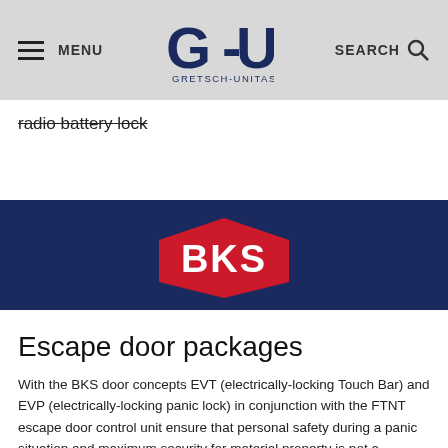MENU | G-U GRETSCH-UNITAS | SEARCH
radio battery lock
[Figure (logo): BKS logo — white text 'BKS' on red pentagon/shield shape on dark navy blue banner background]
Escape door packages
With the BKS door concepts EVT (electrically-locking Touch Bar) and EVP (electrically-locking panic lock) in conjunction with the FTNT escape door control unit ensure that personal safety during a panic situation and maximum security for material property is not a contradiction. And what's more, the number of system components is reduced to a minimum.